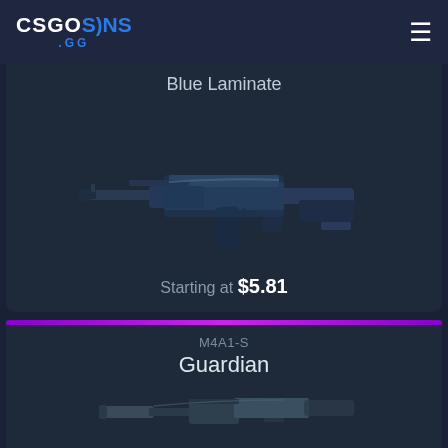CSGOSKINS .GG
Blue Laminate
[Figure (photo): AK-47 Blue Laminate weapon skin rendered in dark blue metallic finish against dark background]
Starting at $5.81
M4A1-S
Guardian
[Figure (photo): M4A1-S Guardian weapon skin partially visible at bottom of page]